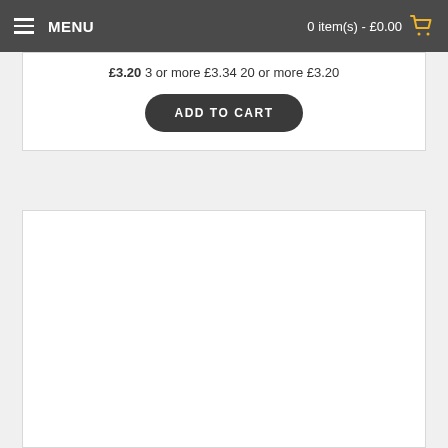MENU | 0 item(s) - £0.00
£3.20 3 or more £3.34 20 or more £3.20
ADD TO CART